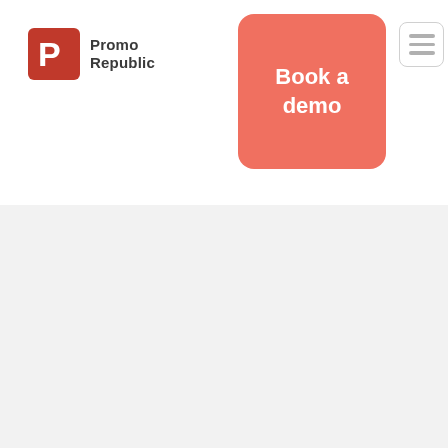[Figure (logo): PromoRepublic logo with red P-R icon and text 'Promo Republic']
[Figure (other): Salmon/coral colored 'Book a demo' call-to-action button]
[Figure (other): Hamburger menu icon with three horizontal lines in a rounded square border]